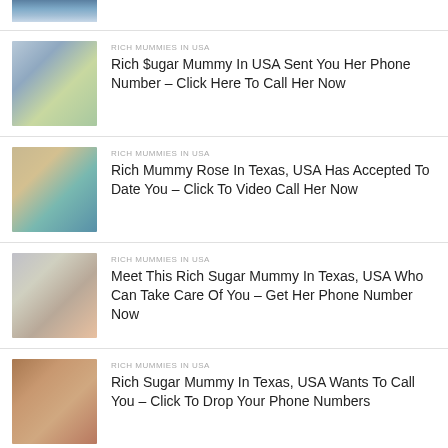[Figure (photo): Partial cropped photo of a person at top of page]
[Figure (photo): Photo of a blonde woman outdoors]
RICH MUMMIES IN USA
Rich $ugar Mummy In USA Sent You Her Phone Number – Click Here To Call Her Now
[Figure (photo): Photo of a blonde woman indoors]
RICH MUMMIES IN USA
Rich Mummy Rose In Texas, USA Has Accepted To Date You – Click To Video Call Her Now
[Figure (photo): Photo of a woman with grey hat holding flowers]
RICH MUMMIES IN USA
Meet This Rich Sugar Mummy In Texas, USA Who Can Take Care Of You – Get Her Phone Number Now
[Figure (photo): Photo of a brunette woman]
RICH MUMMIES IN USA
Rich Sugar Mummy In Texas, USA Wants To Call You – Click To Drop Your Phone Numbers